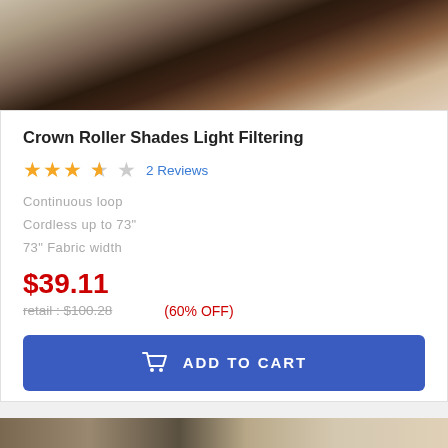[Figure (photo): Top portion of a product page showing a room interior with a dark leather chair and window blinds]
Crown Roller Shades Light Filtering
★★★★☆ 2 Reviews
Continuous loop
Cordless up to 73"
73" Fabric width
$39.11
retail : $100.28   (60% OFF)
ADD TO CART
[Figure (photo): Bottom portion showing another room interior with a banner: Save an additional 18% when you add to cart]